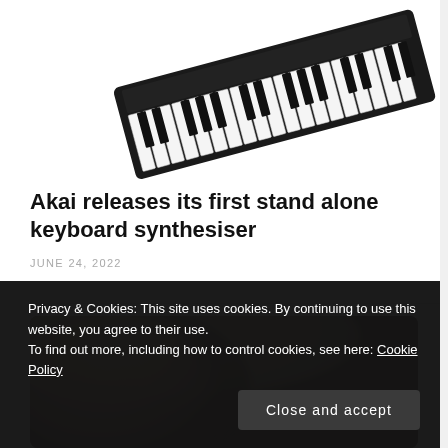[Figure (photo): Partial photo of a keyboard synthesizer (black keys and white keys visible) on white background, positioned in the top-right of the page.]
Akai releases its first stand alone keyboard synthesiser
JUNE 24, 2022
[Figure (photo): Close-up photo of a person's face, partially visible, with blurred/bokeh background. Image is cropped at bottom by the cookie consent banner.]
Privacy & Cookies: This site uses cookies. By continuing to use this website, you agree to their use.
To find out more, including how to control cookies, see here: Cookie Policy
Close and accept